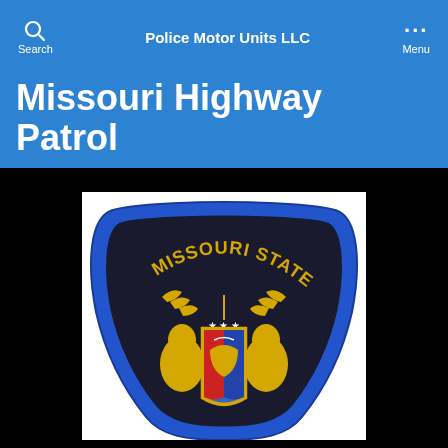Police Motor Units LLC
Missouri Highway Patrol
[Figure (photo): Missouri State Highway Patrol embroidered shoulder patch on a black and blue background. The patch shows a shield shape with a blue border, black background, gold text reading MISSOURI STATE across the top arc, a gold laurel branch, and the Missouri state seal in the center with two bears flanking a crest, on a white background photo.]